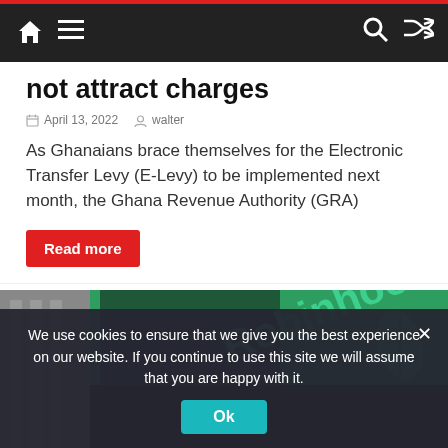Navigation bar with home, menu, search, and shuffle icons
not attract charges
April 13, 2022   walter
As Ghanaians brace themselves for the Electronic Transfer Levy (E-Levy) to be implemented next month, the Ghana Revenue Authority (GRA)
Read more
[Figure (photo): Robinhood storefront sign with green background and leaf logo]
We use cookies to ensure that we give you the best experience on our website. If you continue to use this site we will assume that you are happy with it. Ok